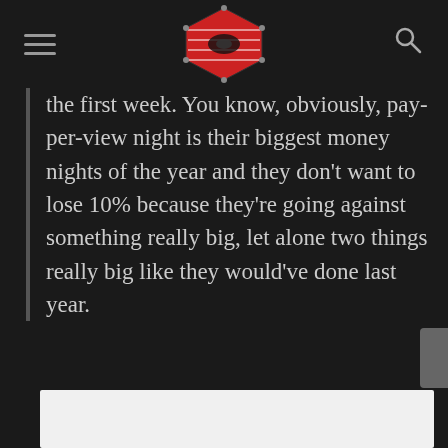[Wrestling website header with logo and navigation icons]
the first week. You know, obviously, pay-per-view night is their biggest money nights of the year and they don't want to lose 10% because they're going against something really big, let alone two things really big like they would've done last year.
[Figure (photo): White/blank image placeholder box at the bottom of the page]